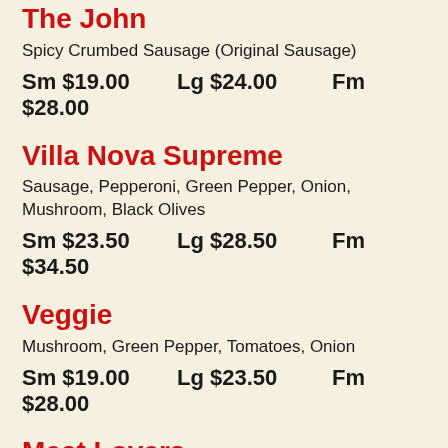The John
Spicy Crumbed Sausage (Original Sausage)
Sm $19.00   Lg $24.00   Fm $28.00
Villa Nova Supreme
Sausage, Pepperoni, Green Pepper, Onion, Mushroom, Black Olives
Sm $23.50   Lg $28.50   Fm $34.50
Veggie
Mushroom, Green Pepper, Tomatoes, Onion
Sm $19.00   Lg $23.50   Fm $28.00
Meat Lovers